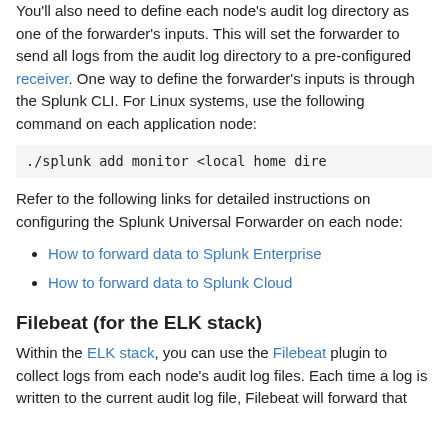You'll also need to define each node's audit log directory as one of the forwarder's inputs. This will set the forwarder to send all logs from the audit log directory to a pre-configured receiver. One way to define the forwarder's inputs is through the Splunk CLI. For Linux systems, use the following command on each application node:
Refer to the following links for detailed instructions on configuring the Splunk Universal Forwarder on each node:
How to forward data to Splunk Enterprise
How to forward data to Splunk Cloud
Filebeat (for the ELK stack)
Within the ELK stack, you can use the Filebeat plugin to collect logs from each node's audit log files. Each time a log is written to the current audit log file, Filebeat will forward that